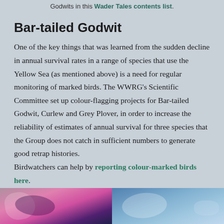Godwits in this Wader Tales contents list.
Bar-tailed Godwit
One of the key things that was learned from the sudden decline in annual survival rates in a range of species that use the Yellow Sea (as mentioned above) is a need for regular monitoring of marked birds. The WWRG's Scientific Committee set up colour-flagging projects for Bar-tailed Godwit, Curlew and Grey Plover, in order to increase the reliability of estimates of annual survival for three species that the Group does not catch in sufficient numbers to generate good retrap histories. Birdwatchers can help by reporting colour-marked birds here.
[Figure (photo): Two side-by-side photos of birds. Left photo shows a bird with pink/purple and dark plumage. Right photo shows a bird against a blue sky background.]